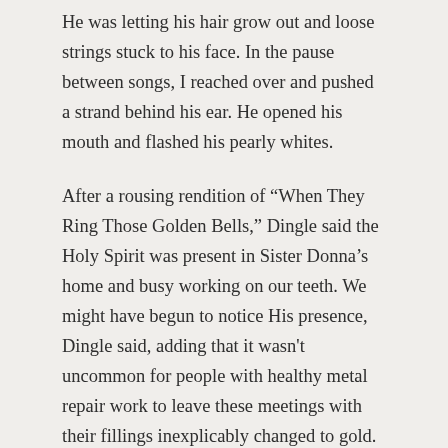He was letting his hair grow out and loose strings stuck to his face. In the pause between songs, I reached over and pushed a strand behind his ear. He opened his mouth and flashed his pearly whites.
After a rousing rendition of “When They Ring Those Golden Bells,” Dingle said the Holy Spirit was present in Sister Donna’s home and busy working on our teeth. We might have begun to notice His presence, Dingle said, adding that it wasn't uncommon for people with healthy metal repair work to leave these meetings with their fillings inexplicably changed to gold. Jenny touched his arm and he said that, in some meetings, gold flakes had come out of